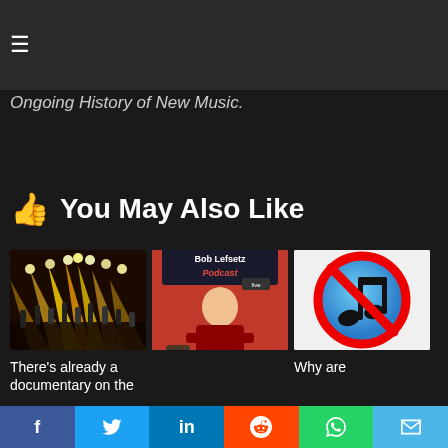≡
Ongoing History of New Music.
👍 You May Also Like
[Figure (photo): Concert scene with raised hands and bright lights on stage]
There's already a documentary on the
[Figure (photo): The Bob Lefsetz Podcast - man seated in front of a sign]
[Figure (illustration): iTunes music note icon with a red circle-slash (no iTunes) symbol over it]
Why are
f  Twitter  in  Reddit  WhatsApp  Email